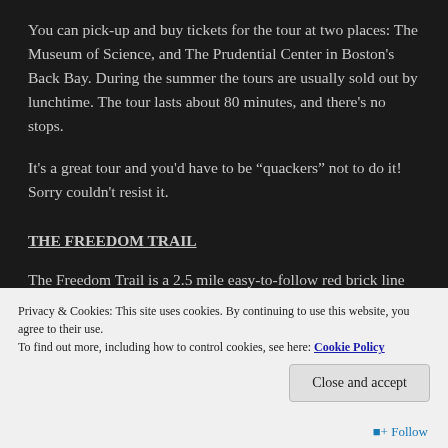You can pick-up and buy tickets for the tour at two places: The Museum of Science, and The Prudential Center in Boston's Back Bay. During the summer the tours are usually sold out by lunchtime. The tour lasts about 80 minutes, and there's no stops.
It's a great tour and you'd have to be “quackers” not to do it! Sorry couldn't resist it.
THE FREEDOM TRAIL
The Freedom Trail is a 2.5 mile easy-to-follow red brick line that links 16 historical sites together around the
Privacy & Cookies: This site uses cookies. By continuing to use this website, you agree to their use.
To find out more, including how to control cookies, see here: Cookie Policy
Close and accept